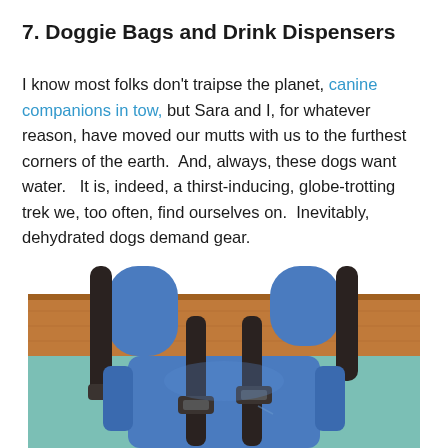7.  Doggie Bags and Drink Dispensers
I know most folks don't traipse the planet, canine companions in tow, but Sara and I, for whatever reason, have moved our mutts with us to the furthest corners of the earth.  And, always, these dogs want water.   It is, indeed, a thirst-inducing, globe-trotting trek we, too often, find ourselves on.  Inevitably, dehydrated dogs demand gear.
[Figure (photo): A blue dog backpack/carrier with brown/black straps and buckles, leaning against a wooden surface with a teal wall behind it.]